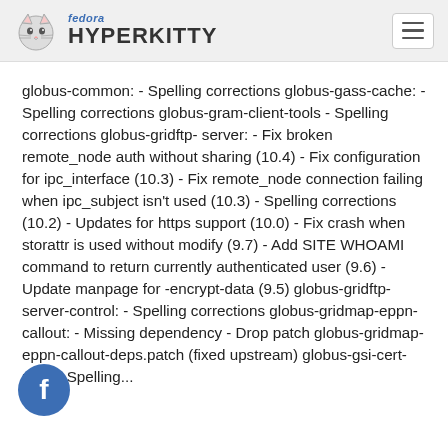fedora HYPERKITTY
globus-common: - Spelling corrections globus-gass-cache: - Spelling corrections globus-gram-client-tools - Spelling corrections globus-gridftp-server: - Fix broken remote_node auth without sharing (10.4) - Fix configuration for ipc_interface (10.3) - Fix remote_node connection failing when ipc_subject isn't used (10.3) - Spelling corrections (10.2) - Updates for https support (10.0) - Fix crash when storattr is used without modify (9.7) - Add SITE WHOAMI command to return currently authenticated user (9.6) - Update manpage for -encrypt-data (9.5) globus-gridftp-server-control: - Spelling corrections globus-gridmap-eppn-callout: - Missing dependency - Drop patch globus-gridmap-eppn-callout-deps.patch (fixed upstream) globus-gsi-cert-utils: - Spelling